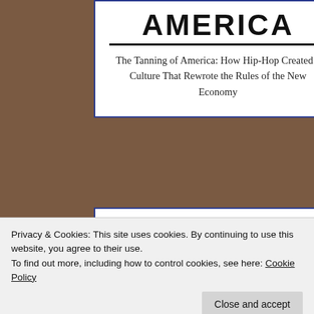[Figure (photo): Background photo showing a person and books in warm brown tones]
AMERICA
The Tanning of America: How Hip-Hop Created a Culture That Rewrote the Rules of the New Economy
Support The Hip Hop Library by Purchasing on Amazon from The Link Below
Blogroll
Privacy & Cookies: This site uses cookies. By continuing to use this website, you agree to their use.
To find out more, including how to control cookies, see here: Cookie Policy
Close and accept